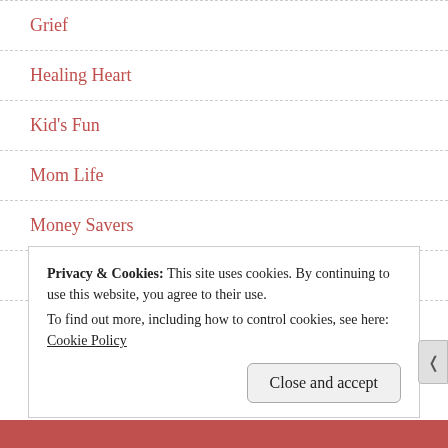Grief
Healing Heart
Kid's Fun
Mom Life
Money Savers
Nature Awakens You
Recipes
Privacy & Cookies: This site uses cookies. By continuing to use this website, you agree to their use.
To find out more, including how to control cookies, see here: Cookie Policy
Close and accept